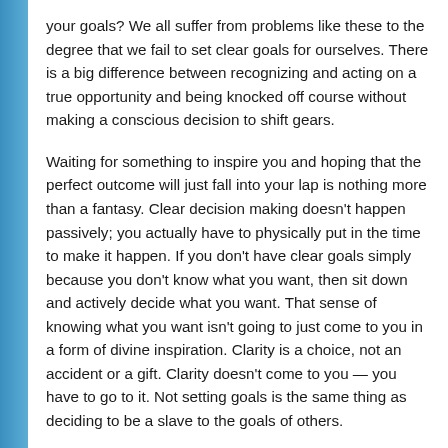your goals? We all suffer from problems like these to the degree that we fail to set clear goals for ourselves. There is a big difference between recognizing and acting on a true opportunity and being knocked off course without making a conscious decision to shift gears.
Waiting for something to inspire you and hoping that the perfect outcome will just fall into your lap is nothing more than a fantasy. Clear decision making doesn't happen passively; you actually have to physically put in the time to make it happen. If you don't have clear goals simply because you don't know what you want, then sit down and actively decide what you want. That sense of knowing what you want isn't going to just come to you in a form of divine inspiration. Clarity is a choice, not an accident or a gift. Clarity doesn't come to you — you have to go to it. Not setting goals is the same thing as deciding to be a slave to the goals of others.
Your reality will not match your vision exactly. That's not the point. The point is for your vision to allow you to make